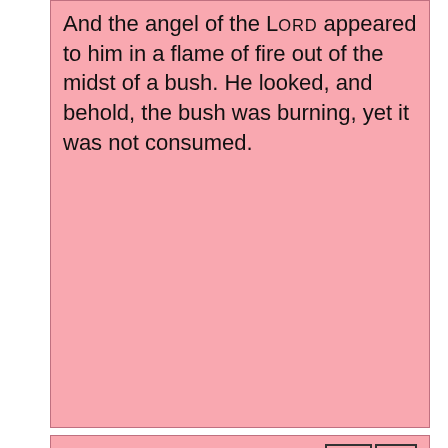And the angel of the LORD appeared to him in a flame of fire out of the midst of a bush. He looked, and behold, the bush was burning, yet it was not consumed.
Hebrews 12:29
for our God is a consuming fire.
Acts 2:2
And suddenly there came from heaven a